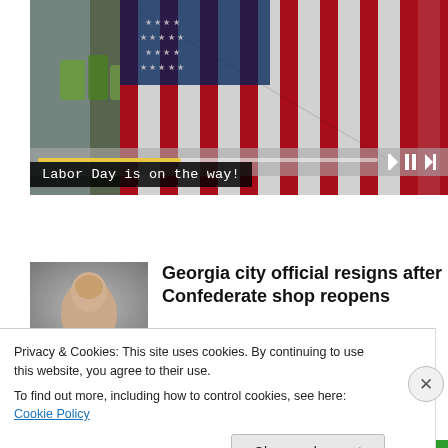[Figure (screenshot): Video player showing American flags in a store with a yellow progress bar and playback controls]
Labor Day is on the way!
[Figure (photo): Thumbnail photo of a person (city official)]
Georgia city official resigns after Confederate shop reopens
Privacy & Cookies: This site uses cookies. By continuing to use this website, you agree to their use.
To find out more, including how to control cookies, see here: Cookie Policy
Close and accept